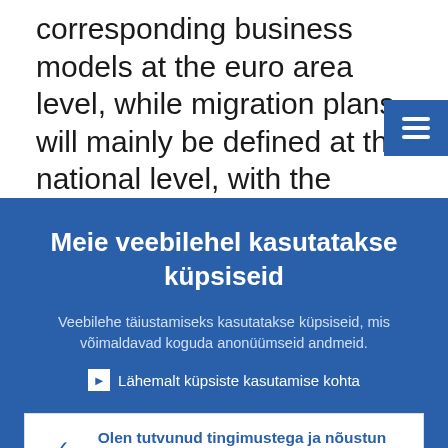corresponding business models at the euro area level, while migration plans will mainly be defined at the national level, with the assistance of national central banks. The
Meie veebilehel kasutatakse küpsiseid
Veebilehe täiustamiseks kasutatakse küpsiseid, mis võimaldavad koguda anonüümseid andmeid.
▶  Lähemalt küpsiste kasutamise kohta
✓  Olen tutvunud tingimustega ja nõustun küpsiste kasutamisega
✕  Ei nõustu küpsiste kasutamisega